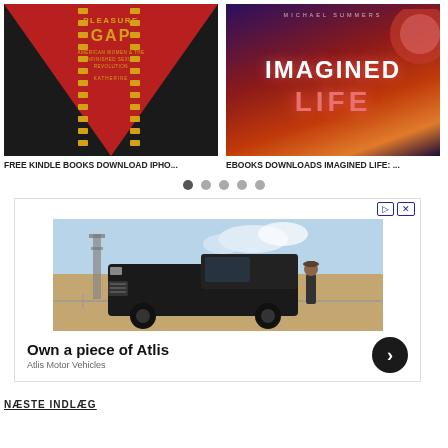[Figure (photo): Book cover: The Pleasure Gap - American Women & the Unfinished Sexual Revolution by Katherine]
[Figure (photo): Book cover: Imagined Life by Michael Summers]
FREE KINDLE BOOKS DOWNLOAD IPHO...
EBOOKS DOWNLOADS IMAGINED LIFE: ...
[Figure (other): Pagination dots: 5 dots, first one active/dark]
[Figure (photo): Advertisement image: black truck (Atlis Motor Vehicles) in desert setting with person standing beside it]
Own a piece of Atlis
Atlis Motor Vehicles
NÆSTE INDLÆG